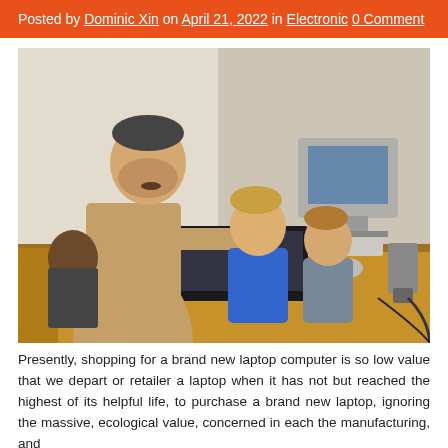Posted by Dominic Xin on April 21, 2022 in Electronic 0 Comment
[Figure (photo): An adult man in a tan shirt leans over two young boys seated at a desk with a laptop computer. A desktop computer with a CRT monitor and keyboard is visible in the background. Another child is visible in the far background.]
Presently, shopping for a brand new laptop computer is so low value that we depart or retailer a laptop when it has not but reached the highest of its helpful life, to purchase a brand new laptop, ignoring the massive, ecological value, concerned in each the manufacturing, and